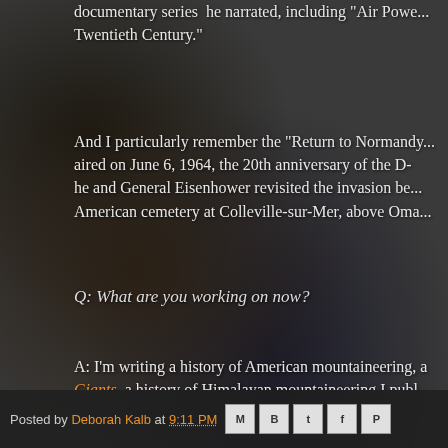documentary series he narrated, including "Air Power" and "The Twentieth Century."
And I particularly remember the "Return to Normandy" that aired on June 6, 1964, the 20th anniversary of the D-Day, he and General Eisenhower revisited the invasion beaches and the American cemetery at Colleville-sur-Mer, above Oma...
Q: What are you working on now?
A: I'm writing a history of American mountaineering, a sequel to Giants, a history of Himalayan mountaineering I publ...
--Interview with Deborah Kalb
Posted by Deborah Kalb at 9:11 PM